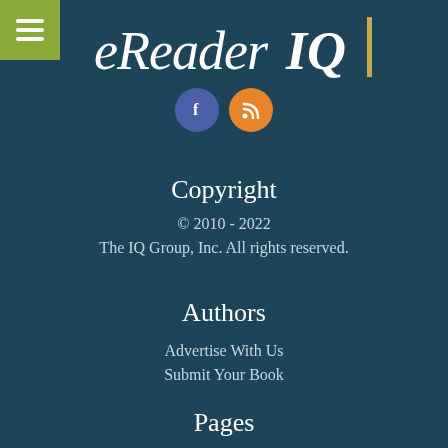[Figure (logo): eReader IQ logo in stylized script with gold accent bar on right]
[Figure (other): Social media icons: Facebook (blue circle with f) and RSS (orange circle with RSS symbol)]
Copyright
© 2010 - 2022
The IQ Group, Inc. All rights reserved.
Authors
Advertise With Us
Submit Your Book
Pages